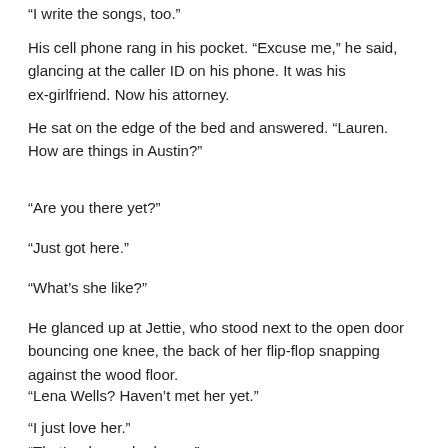“I write the songs, too.”
His cell phone rang in his pocket. “Excuse me,” he said, glancing at the caller ID on his phone. It was his ex-girlfriend. Now his attorney.
He sat on the edge of the bed and answered. “Lauren. How are things in Austin?”
“Are you there yet?”
“Just got here.”
“What’s she like?”
He glanced up at Jettie, who stood next to the open door bouncing one knee, the back of her flip-flop snapping against the wood floor.
“Lena Wells? Haven’t met her yet.”
“I just love her.”
“That’s why we broke up.”